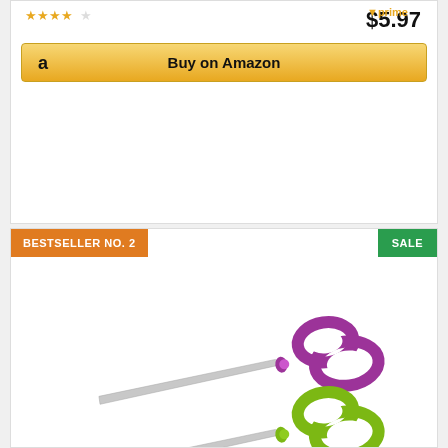$5.97
Buy on Amazon
BESTSELLER NO. 2
SALE
[Figure (photo): Three pairs of Amazon Basics multipurpose scissors with comfort grip handles in purple/white, green/white, and gray/orange colors, arranged diagonally stacked]
Amazon Basics Multipurpose, Comfort Grip, Titanium...